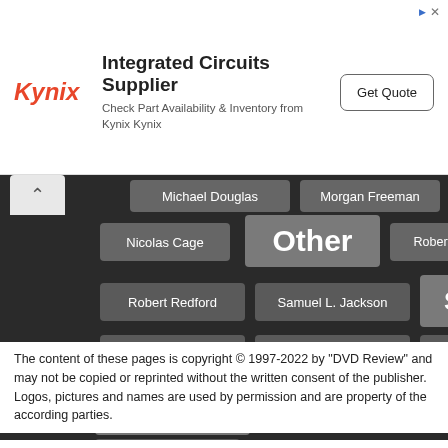[Figure (infographic): Kynix Integrated Circuits Supplier advertisement banner with logo, text, and Get Quote button]
[Figure (infographic): Tag cloud on dark background featuring names like Michael Douglas, Morgan Freeman, Music, Nicolas Cage, Other, Robert Downey Jr., Robert Redford, Samuel L. Jackson, SciFi, Sean Connery, Sigourney Weaver, Steve Buscemi, Thriller, Tom Cruise, Tom Hanks, Willem Dafoe]
The content of these pages is copyright © 1997-2022 by "DVD Review" and may not be copied or reprinted without the written consent of the publisher. Logos, pictures and names are used by permission and are property of the according parties.